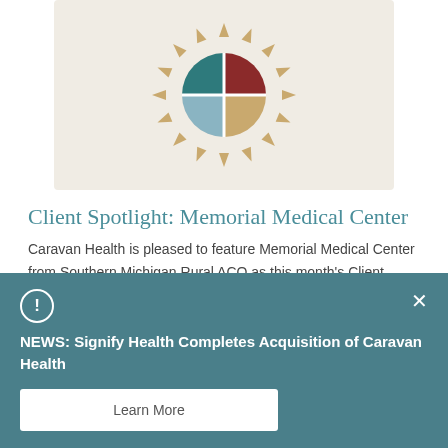[Figure (logo): Caravan Health logo — a circle divided into four quadrants (teal top-left, dark red top-right, light blue bottom-left, tan bottom-right) with radiating triangular sun rays in a tan/gold color, on a beige background]
Client Spotlight: Memorial Medical Center
Caravan Health is pleased to feature Memorial Medical Center from Southern Michigan Rural ACO as this month's Client Spotlight.
NEWS: Signify Health Completes Acquisition of Caravan Health
Learn More